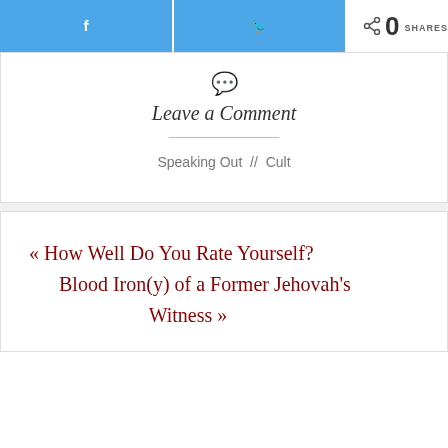[Figure (screenshot): Facebook share button (blue) and Twitter share button (blue) side by side]
0 SHARES
Leave a Comment
Speaking Out // Cult
« How Well Do You Rate Yourself? Blood Iron(y) of a Former Jehovah's Witness »